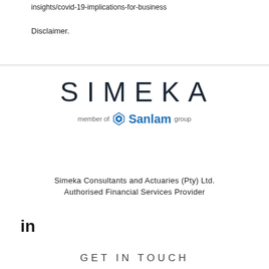insights/covid-19-implications-for-business
Disclaimer.
[Figure (logo): SIMEKA wordmark in dark navy with wide letter-spacing, below it 'member of' followed by Sanlam diamond logo icon and 'Sanlam' in blue bold text then 'group' in grey]
Simeka Consultants and Actuaries (Pty) Ltd.
Authorised Financial Services Provider
[Figure (logo): LinkedIn 'in' icon in bold black]
GET IN TOUCH